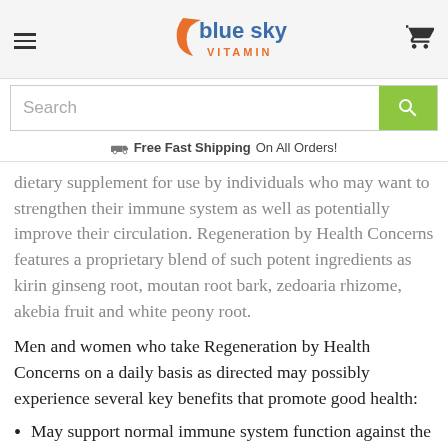Blue Sky Vitamin
[Figure (logo): Blue Sky Vitamin logo with orange swoosh and blue/orange text]
Search
Free Fast Shipping On All Orders!
dietary supplement for use by individuals who may want to strengthen their immune system as well as potentially improve their circulation. Regeneration by Health Concerns features a proprietary blend of such potent ingredients as kirin ginseng root, moutan root bark, zedoaria rhizome, akebia fruit and white peony root.
Men and women who take Regeneration by Health Concerns on a daily basis as directed may possibly experience several key benefits that promote good health:
May support normal immune system function against the onset of illness and chronic diseases.
May help to support healthy blood circulation as well as gently